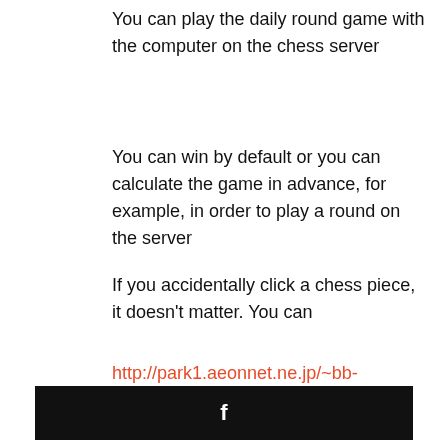You can play the daily round game with the computer on the chess server
You can win by default or you can calculate the game in advance, for example, in order to play a round on the server
If you accidentally click a chess piece, it doesn't matter. You can
http://park1.aeonnet.ne.jp/~bb-s_wing/cgi-bin/picts_bbs/joyful.cgi
[Figure (other): Black button with Facebook 'f' icon]
[Figure (other): Black button with Twitter bird icon]